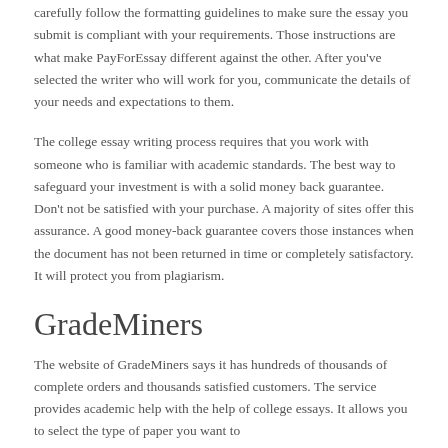carefully follow the formatting guidelines to make sure the essay you submit is compliant with your requirements. Those instructions are what make PayForEssay different against the other. After you've selected the writer who will work for you, communicate the details of your needs and expectations to them.
The college essay writing process requires that you work with someone who is familiar with academic standards. The best way to safeguard your investment is with a solid money back guarantee. Don't not be satisfied with your purchase. A majority of sites offer this assurance. A good money-back guarantee covers those instances when the document has not been returned in time or completely satisfactory. It will protect you from plagiarism.
GradeMiners
The website of GradeMiners says it has hundreds of thousands of complete orders and thousands satisfied customers. The service provides academic help with the help of college essays. It allows you to select the type of paper you want to